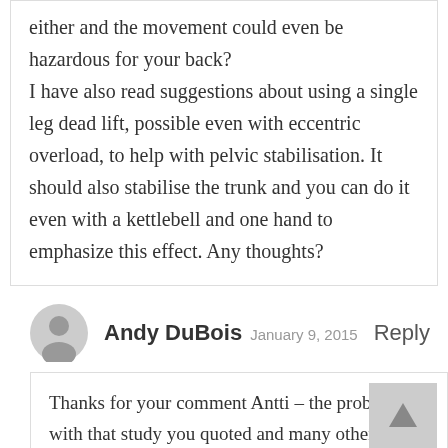either and the movement could even be hazardous for your back? I have also read suggestions about using a single leg dead lift, possible even with eccentric overload, to help with pelvic stabilisation. It should also stabilise the trunk and you can do it even with a kettlebell and one hand to emphasize this effect. Any thoughts?
Andy DuBois  January 9, 2015  Reply
Thanks for your comment Antti – the problem with that study you quoted and many other studies on glute activation is the focus is on which exercise activates the glute the most. That is not